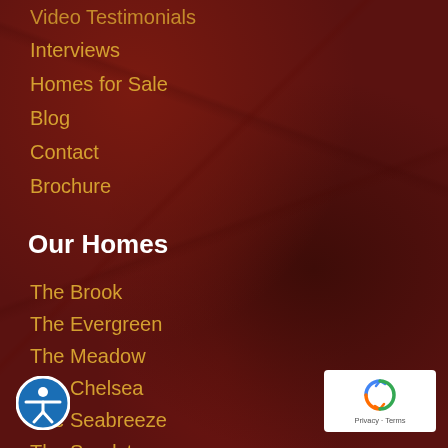Video Testimonials
Interviews
Homes for Sale
Blog
Contact
Brochure
Our Homes
The Brook
The Evergreen
The Meadow
The Chelsea
The Seabreeze
The Sandstone
Wildflower II